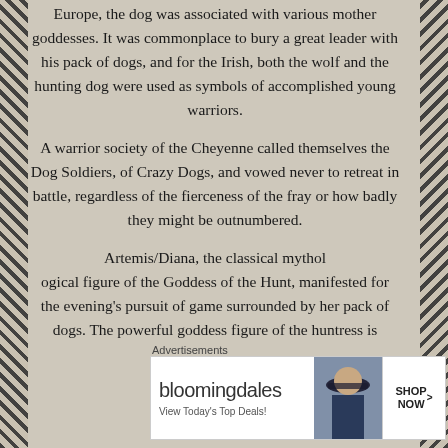Europe, the dog was associated with various mother goddesses. It was commonplace to bury a great leader with his pack of dogs, and for the Irish, both the wolf and the hunting dog were used as symbols of accomplished young warriors.
A warrior society of the Cheyenne called themselves the Dog Soldiers, of Crazy Dogs, and vowed never to retreat in battle, regardless of the fierceness of the fray or how badly they might be outnumbered.
Artemis/Diana, the classical mythol
ogical figure of the Goddess of the Hunt, manifested for the evening's pursuit of game surrounded by her pack of dogs. The powerful goddess figure of the huntress is
Advertisements
[Figure (other): Bloomingdale's advertisement banner with logo, 'View Today's Top Deals!' text, image of woman with hat, and 'SHOP NOW >' button]